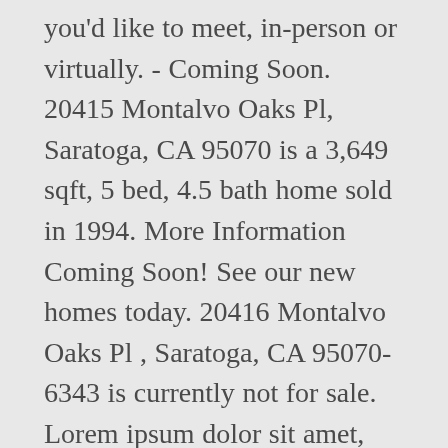you'd like to meet, in-person or virtually. - Coming Soon. 20415 Montalvo Oaks Pl, Saratoga, CA 95070 is a 3,649 sqft, 5 bed, 4.5 bath home sold in 1994. More Information Coming Soon! See our new homes today. 20416 Montalvo Oaks Pl , Saratoga, CA 95070-6343 is currently not for sale. Lorem ipsum dolor sit amet, consectetur adipiscing elit. Take virtual tours over video chat or in person! Avenue One - ... 18840 Saratoga Los Gatos Road Los Gatos, CA 95030. JUST MINUTES TO PARKS, MAJOR EMPLOYERS, DINING AND ENTERTAINMENT. "Hey, how many plans are there to choose from?". Get a loved one's opinion! SummerHill Homes. At